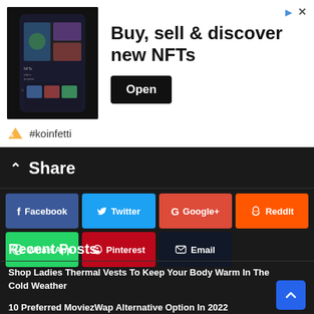[Figure (screenshot): Advertisement banner for koinfetti NFT platform. Shows a dark phone mockup with NFT images, text 'Buy, sell & discover new NFTs', an Open button, and the #koinfetti brand name with logo.]
Share
Facebook
Twitter
Google+
ReddIt
WhatsApp
Pinterest
Email
Recent Posts
Shop Ladies Thermal Vests To Keep Your Body Warm In The Cold Weather
10 Preferred MoviezWap Alternative Option In 2022